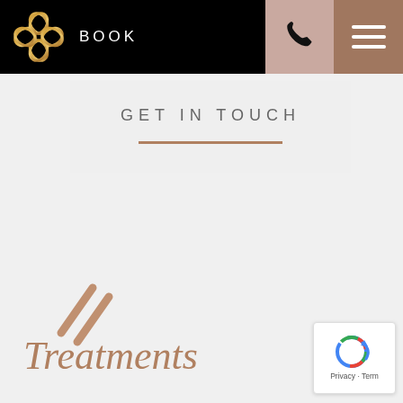[Figure (logo): Navigation bar with decorative golden knot logo on black background, BOOK text, phone icon button on light pink background, hamburger menu on brown background]
GET IN TOUCH
Treatments